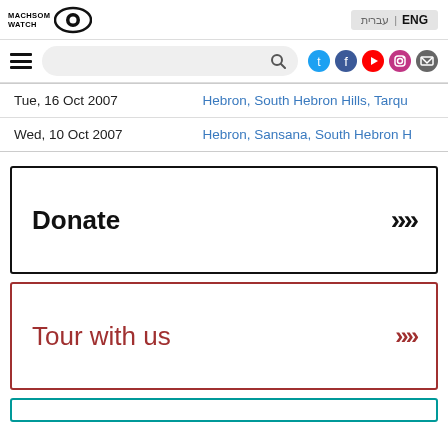Machsom Watch logo | ENG | עברית
| Date | Location |
| --- | --- |
| Tue, 16 Oct 2007 | Hebron, South Hebron Hills, Tarqu… |
| Wed, 10 Oct 2007 | Hebron, Sansana, South Hebron H… |
Donate >>
Tour with us >>